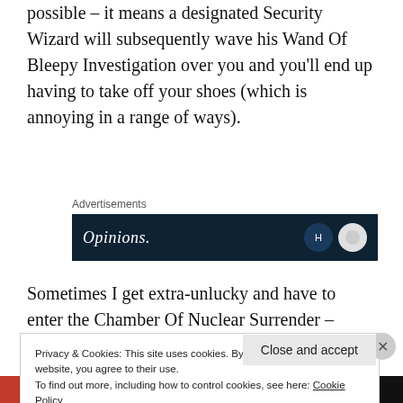possible – it means a designated Security Wizard will subsequently wave his Wand Of Bleepy Investigation over you and you'll end up having to take off your shoes (which is annoying in a range of ways).
Advertisements
[Figure (screenshot): Advertisement banner with dark navy background showing 'Opinions.' text in white italic font with circular icons on the right.]
Sometimes I get extra-unlucky and have to enter the Chamber Of Nuclear Surrender – where you
Privacy & Cookies: This site uses cookies. By continuing to use this website, you agree to their use.
To find out more, including how to control cookies, see here: Cookie Policy
Close and accept